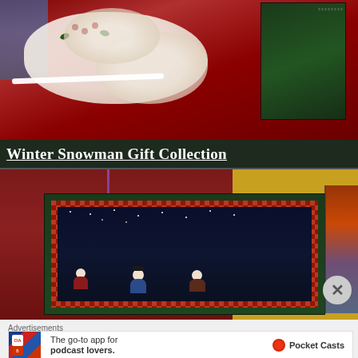[Figure (photo): Photo of winter/Christmas items including decorated teacups/saucers with floral pattern on a red cloth background, and a dark green gift box in the upper right corner with a white ribbon.]
Winter Snowman Gift Collection
[Figure (photo): Photo of a green gift box with a dark snowman scene panel featuring a checkered red border, showing snowman figures against a dark snowy background. Yellow wall and decorative item visible on the right edge.]
Advertisements
[Figure (infographic): Advertisement banner for Pocket Casts app: 'The go-to app for podcast lovers.' with Pocket Casts logo on the right.]